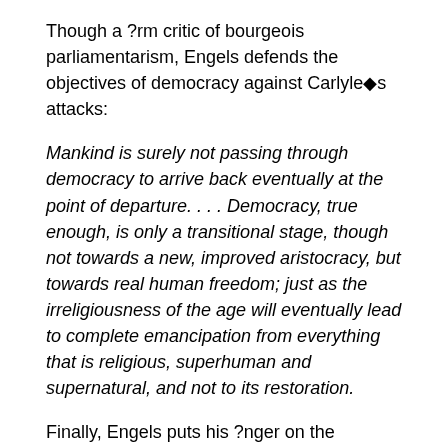Though a ?rm critic of bourgeois parliamentarism, Engels defends the objectives of democracy against Carlyleÿs attacks:
Mankind is surely not passing through democracy to arrive back eventually at the point of departure. . . . Democracy, true enough, is only a transitional stage, though not towards a new, improved aristocracy, but towards real human freedom; just as the irreligiousness of the age will eventually lead to complete emancipation from everything that is religious, superhuman and supernatural, and not to its restoration.
Finally, Engels puts his ?nger on the decisive difference between his own critique of capitalism and Carlyleÿs, a difference that is not con? ned to the realm of philosophical theory, but comes down to their respective approaches to the social question of property relations. Carlyleÿs ultimate failure to go beyond the superhuman and af?rm the human is ascribed to his inability to envisage a move beyond